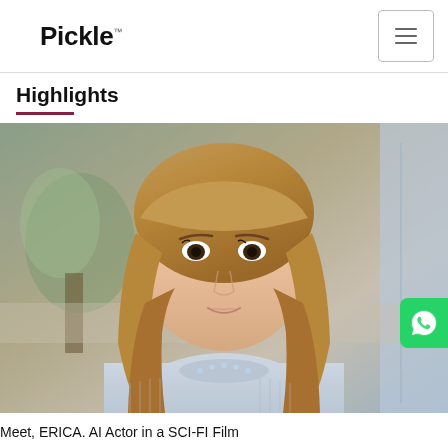Pickle
Highlights
[Figure (photo): A humanoid robot named ERICA with realistic human-like appearance, auburn hair, wearing a light blue ribbed sweater with jewel embellishments at the neckline, photographed in an indoor setting with blurred background including plants and windows.]
Meet, ERICA. AI Actor in a SCI-FI Film